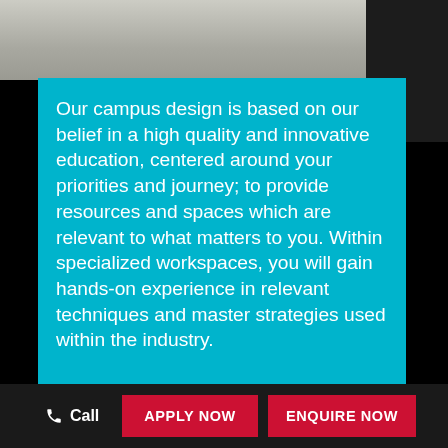[Figure (photo): Top portion of a concrete or stone architectural background, gray tones, with a dark square overlay in the top-right corner.]
Our campus design is based on our belief in a high quality and innovative education, centered around your priorities and journey; to provide resources and spaces which are relevant to what matters to you. Within specialized workspaces, you will gain hands-on experience in relevant techniques and master strategies used within the industry.
Call  APPLY NOW  ENQUIRE NOW